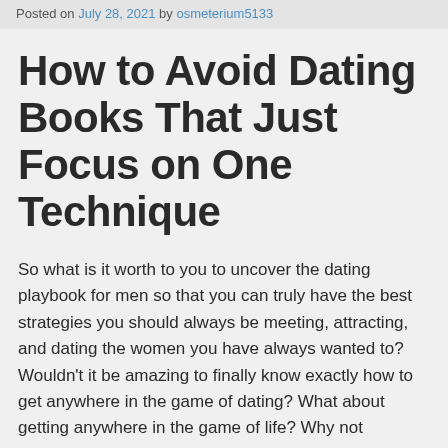Posted on July 28, 2021 by osmeterium5133
How to Avoid Dating Books That Just Focus on One Technique
So what is it worth to you to uncover the dating playbook for men so that you can truly have the best strategies you should always be meeting, attracting, and dating the women you have always wanted to? Wouldn't it be amazing to finally know exactly how to get anywhere in the game of dating? What about getting anywhere in the game of life? Why not discover the dating playbook for men and begin